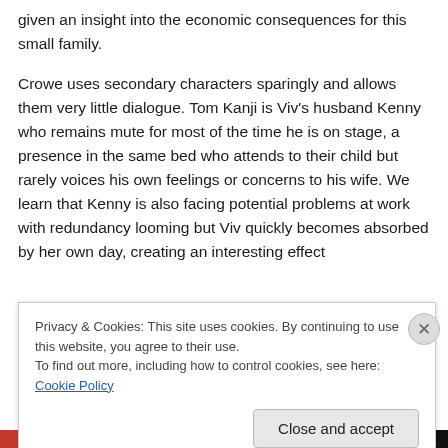given an insight into the economic consequences for this small family.
Crowe uses secondary characters sparingly and allows them very little dialogue. Tom Kanji is Viv's husband Kenny who remains mute for most of the time he is on stage, a presence in the same bed who attends to their child but rarely voices his own feelings or concerns to his wife. We learn that Kenny is also facing potential problems at work with redundancy looming but Viv quickly becomes absorbed by her own day, creating an interesting effect
Privacy & Cookies: This site uses cookies. By continuing to use this website, you agree to their use.
To find out more, including how to control cookies, see here: Cookie Policy